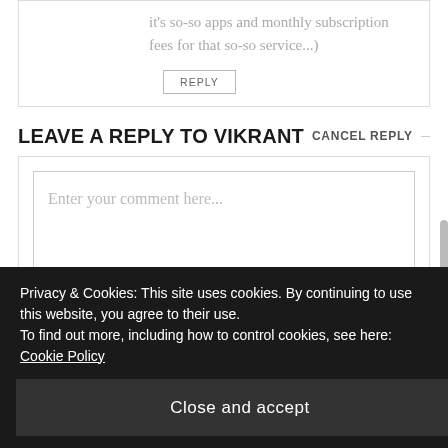it's so-so apps and monthly subscription fees for that so-so service...)
REPLY
LEAVE A REPLY TO VIKRANT CANCEL REPLY
Enter your comment here...
Privacy & Cookies: This site uses cookies. By continuing to use this website, you agree to their use. To find out more, including how to control cookies, see here: Cookie Policy
Close and accept